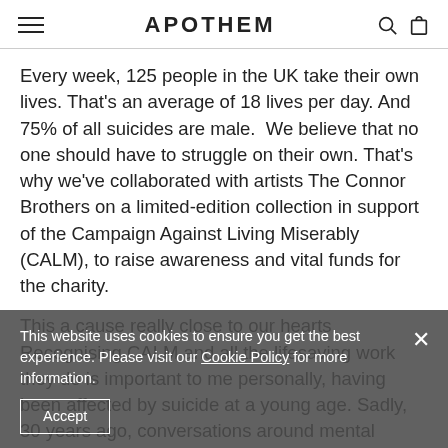APOTHEM
Every week, 125 people in the UK take their own lives. That's an average of 18 lives per day. And 75% of all suicides are male.  We believe that no one should have to struggle on their own. That's why we've collaborated with artists The Connor Brothers on a limited-edition collection in support of the Campaign Against Living Miserably (CALM), to raise awareness and vital funds for the charity.
This a cause really close to our hearts.  Recognising CALM and all the lifesaving work they do is important to me personally, having been affected by suicide at a young age. Sadly, 30 years ago, conversations around mental health, particularly with men, were not commonplace. Today, CALM is supporting more people than ever and I'm grateful to be in a position where we can do something
This website uses cookies to ensure you get the best experience. Please visit our Cookie Policy for more information.